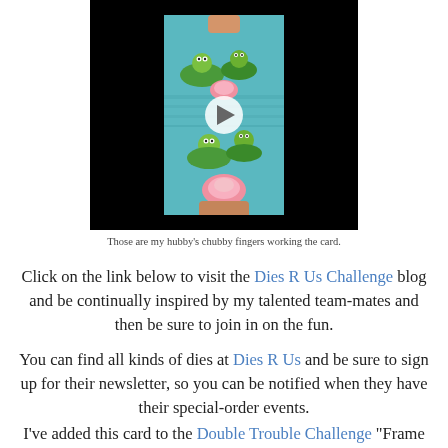[Figure (screenshot): Video thumbnail showing a hand holding a card with frogs and lily pads on a teal background, with a play button overlay, set against a black video player background.]
Those are my hubby's chubby fingers working the card.
Click on the link below to visit the Dies R Us Challenge blog and be continually inspired by my talented team-mates and then be sure to join in on the fun.
You can find all kinds of dies at Dies R Us and be sure to sign up for their newsletter, so you can be notified when they have their special-order events.
I've added this card to the Double Trouble Challenge "Frame It"